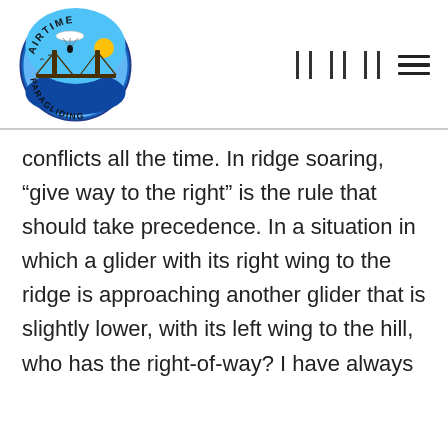[Figure (logo): Airtime Paragliding circular logo with a paraglider silhouette over the Golden Gate Bridge, blue sky, and yellow sun, with text 'AIRTIME' arched at top and 'PARAGLIDING' arched at bottom]
conflicts all the time. In ridge soaring, “give way to the right” is the rule that should take precedence. In a situation in which a glider with its right wing to the ridge is approaching another glider that is slightly lower, with its left wing to the hill, who has the right-of-way? I have always